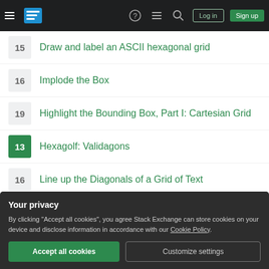Stack Exchange navigation bar with hamburger menu, logo, help, chat, search, Log in, Sign up
15 Draw and label an ASCII hexagonal grid
16 Implode the Box
19 Highlight the Bounding Box, Part I: Cartesian Grid
13 Hexagolf: Validagons
16 Line up the Diagonals of a Grid of Text
21 Hexagonal Triangles!
7 Explode the Box
13 Maximal hexagonal dot pattern
Your privacy
By clicking "Accept all cookies", you agree Stack Exchange can store cookies on your device and disclose information in accordance with our Cookie Policy.
Accept all cookies   Customize settings